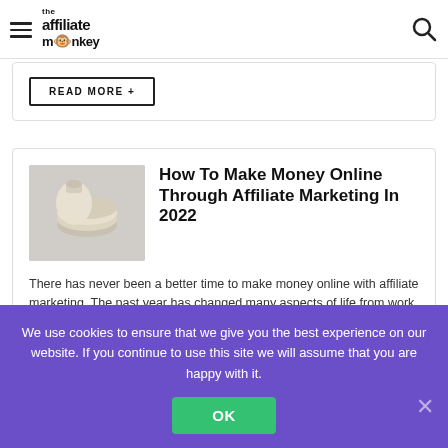the affiliate monkey
READ MORE +
How To Make Money Online Through Affiliate Marketing In 2022
There has never been a better time to make money online with affiliate marketing. The past year has changed many aspects of life from work to leisure. One ...
READ MORE +
We use cookies to ensure that we give you the best experience on our website. If you continue to use this site we will assume that you are happy with it.
OK